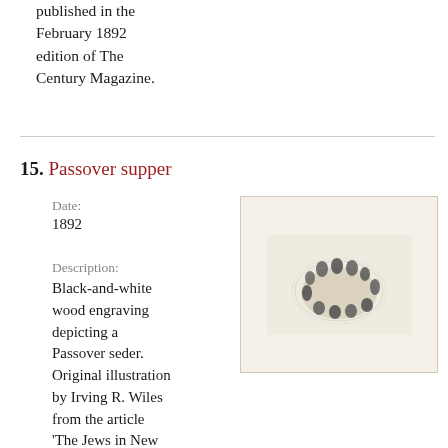published in the February 1892 edition of The Century Magazine.
15. Passover supper
Date:
1892
Description:
Black-and-white wood engraving depicting a Passover seder. Original illustration by Irving R. Wiles from the article 'The Jews in New
[Figure (illustration): Black-and-white wood engraving showing a group of people seated around a round table at a Passover seder, viewed from above at a slight angle. The figures are rendered in dark ink against a light background.]